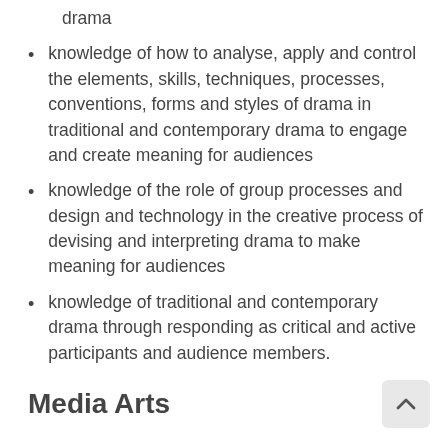drama
knowledge of how to analyse, apply and control the elements, skills, techniques, processes, conventions, forms and styles of drama in traditional and contemporary drama to engage and create meaning for audiences
knowledge of the role of group processes and design and technology in the creative process of devising and interpreting drama to make meaning for audiences
knowledge of traditional and contemporary drama through responding as critical and active participants and audience members.
Media Arts
Media Arts knowledge and skills ensure that,